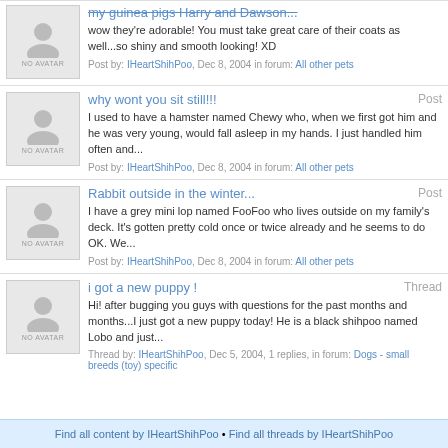my guinea pigs Harry and Dawson... Post by: IHeartShihPoo, Dec 8, 2004 in forum: All other pets
why wont you sit still!!! - Post - I used to have a hamster named Chewy who, when we first got him and he was very young, would fall asleep in my hands. I just handled him often and... Post by: IHeartShihPoo, Dec 8, 2004 in forum: All other pets
Rabbit outside in the winter... - Post - I have a grey mini lop named FooFoo who lives outside on my family's deck. It's gotten pretty cold once or twice already and he seems to do OK. We... Post by: IHeartShihPoo, Dec 8, 2004 in forum: All other pets
i got a new puppy ! - Thread - Hi! after bugging you guys with questions for the past months and months...I just got a new puppy today! He is a black shihpoo named Lobo and just... Thread by: IHeartShihPoo, Dec 5, 2004, 1 replies, in forum: Dogs - small breeds (toy) specific
Find all content by IHeartShihPoo • Find all threads by IHeartShihPoo